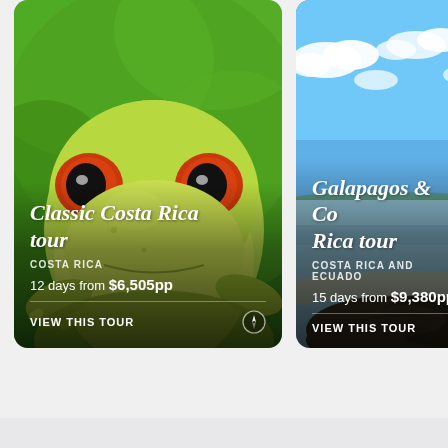[Figure (photo): Tour card for Classic Costa Rica tour showing a close-up of a red-eyed tree frog on a green background, with overlay text showing tour details]
Classic Costa Rica tour
COSTA RICA
12 days from $6,505pp
VIEW THIS TOUR
[Figure (photo): Tour card for Galapagos & Costa Rica tour showing a tropical beach scene with blue sky and water, with overlay text showing tour details (partially cropped on right)]
Galapagos & Costa Rica tour
COSTA RICA AND ECUADOR
15 days from $9,380pp
VIEW THIS TOUR